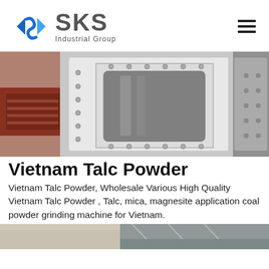[Figure (logo): SKS Industrial Group logo with blue diamond-S icon and grey text]
[Figure (photo): Industrial machinery photo showing a large white painted metal housing/enclosure with bolted flanges, and industrial equipment in background]
Vietnam Talc Powder
Vietnam Talc Powder, Wholesale Various High Quality Vietnam Talc Powder , Talc, mica, magnesite application coal powder grinding machine for Vietnam.
[Figure (photo): Partial view of industrial facility/machinery at bottom of page]